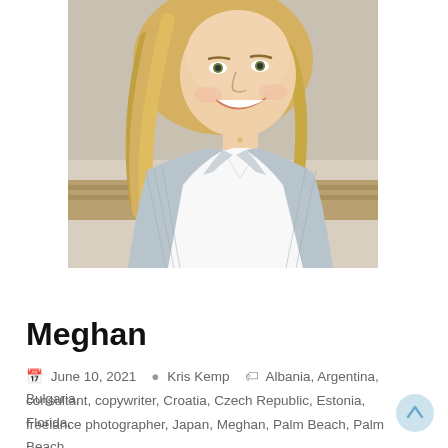[Figure (photo): Portrait photo of a blonde woman smiling, wearing a light blue/grey striped blazer over a white collared shirt, photographed outdoors against a light background.]
portfolio
Meghan
June 10, 2021   Kris Kemp   Albania, Argentina, Bulgaria, consultant, copywriter, Croatia, Czech Republic, Estonia, Florida, freelance photographer, Japan, Meghan, Palm Beach, Palm Beach